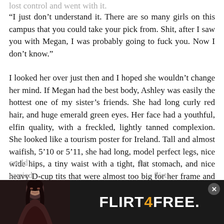“I just don’t understand it. There are so many girls on this campus that you could take your pick from. Shit, after I saw you with Megan, I was probably going to fuck you. Now I don’t know.”
I looked her over just then and I hoped she wouldn’t change her mind. If Megan had the best body, Ashley was easily the hottest one of my sister’s friends. She had long curly red hair, and huge emerald green eyes. Her face had a youthful, elfin quality, with a freckled, lightly tanned complexion. She looked like a tourism poster for Ireland. Tall and almost waifish, 5’10 or 5’11, she had long, model perfect legs, nice wide hips, a tiny waist with a tight, flat stomach, and nice heavy D-cup tits that were almost too big for her frame and pointed straight forward. Her ass was hard and perfectly round with a shelf that looked like you could s… he carried… flirts…
[Figure (other): Advertisement overlay for Flirt4Free with a woman's photo on the left and the Flirt4Free logo text on a dark background, with a close button (x) in the top right corner.]